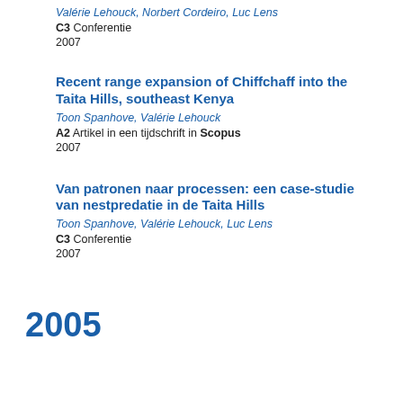Valérie Lehouck, Norbert Cordeiro, Luc Lens
C3 Conferentie
2007
Recent range expansion of Chiffchaff into the Taita Hills, southeast Kenya
Toon Spanhove, Valérie Lehouck
A2 Artikel in een tijdschrift in Scopus
2007
Van patronen naar processen: een case-studie van nestpredatie in de Taita Hills
Toon Spanhove, Valérie Lehouck, Luc Lens
C3 Conferentie
2007
2005